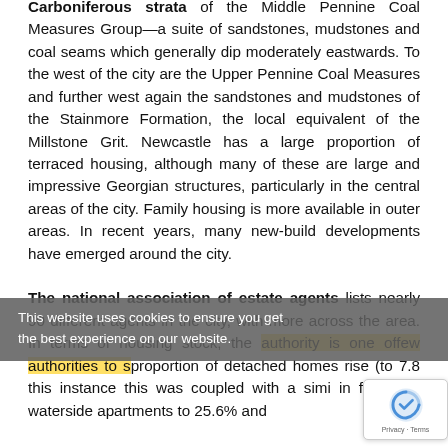Carboniferous strata of the Middle Pennine Coal Measures Group—a suite of sandstones, mudstones and coal seams which generally dip moderately eastwards. To the west of the city are the Upper Pennine Coal Measures and further west again the sandstones and mudstones of the Stainmore Formation, the local equivalent of the Millstone Grit. Newcastle has a large proportion of terraced housing, although many of these are large and impressive Georgian structures, particularly in the central areas of the city. Family housing is more available in outer areas. In recent years, many new-build developments have emerged around the city.
The national association of estate agents lists nearly 90 different agents in the city, with more across the area. In terms of housing stock, the authority is one of few authorities to see proportion of detached homes rise (to 7.8 this instance this was coupled with a similar in flats and waterside apartments to 25.6% and